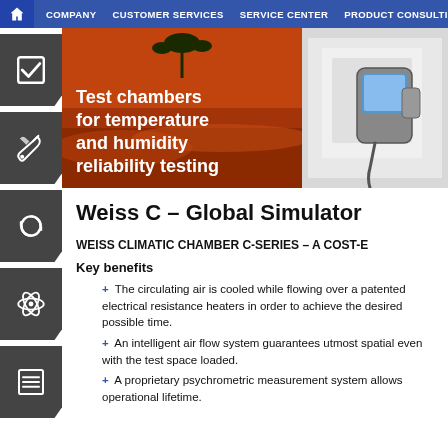COMPANY  CUSTOMER SERVICES  SERVICE CENTER  PRODUCT CONSULTING
[Figure (photo): Banner image showing desert landscape with red sand and a plant on the left, and a white industrial test chamber with a digital control panel on the right. Text overlay reads: Test chambers for temperature and humidity reliability testing]
Weiss C – Global Simulator
WEISS CLIMATIC CHAMBER C-SERIES – A COST-E
Key benefits
+ The circulating air is cooled while flowing over a patented electrical resistance heaters in order to achieve the desired possible time.
+ An intelligent air flow system guarantees utmost spatial even with the test space loaded.
+ A proprietary psychrometric measurement system allows operational lifetime.